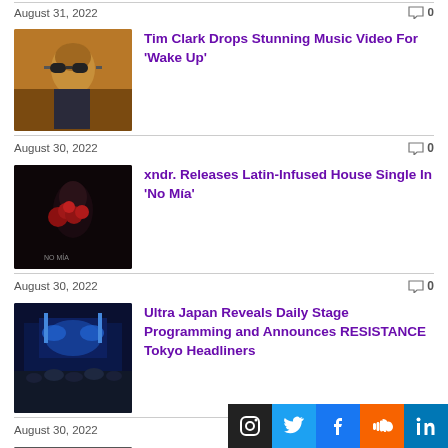August 31, 2022  0
[Figure (photo): Person with large round sunglasses, warm sunset lighting]
Tim Clark Drops Stunning Music Video For 'Wake Up'
August 30, 2022  0
[Figure (photo): Dark image with figure holding red flowers, album art style for 'NO MIA']
xndr. Releases Latin-Infused House Single In 'No Mía'
August 30, 2022  0
[Figure (photo): Ultra Japan festival stage with blue lighting and large crowd]
Ultra Japan Reveals Daily Stage Programming and Announces RESISTANCE Tokyo Headliners
August 30, 2022  0
GunFight